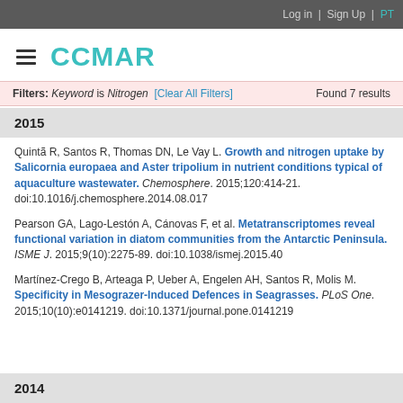Log in | Sign Up | PT
[Figure (logo): CCMAR logo with hamburger menu icon]
Filters: Keyword is Nitrogen [Clear All Filters] Found 7 results
2015
Quintã R, Santos R, Thomas DN, Le Vay L. Growth and nitrogen uptake by Salicornia europaea and Aster tripolium in nutrient conditions typical of aquaculture wastewater. Chemosphere. 2015;120:414-21. doi:10.1016/j.chemosphere.2014.08.017
Pearson GA, Lago-Lestón A, Cánovas F, et al. Metatranscriptomes reveal functional variation in diatom communities from the Antarctic Peninsula. ISME J. 2015;9(10):2275-89. doi:10.1038/ismej.2015.40
Martínez-Crego B, Arteaga P, Ueber A, Engelen AH, Santos R, Molis M. Specificity in Mesograzer-Induced Defences in Seagrasses. PLoS One. 2015;10(10):e0141219. doi:10.1371/journal.pone.0141219
2014